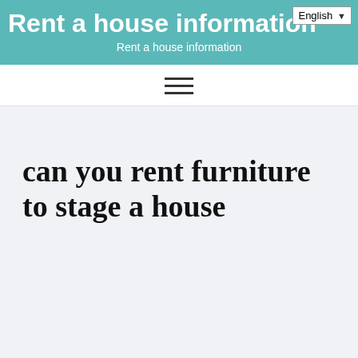Rent a house information
Rent a house information
can you rent furniture to stage a house